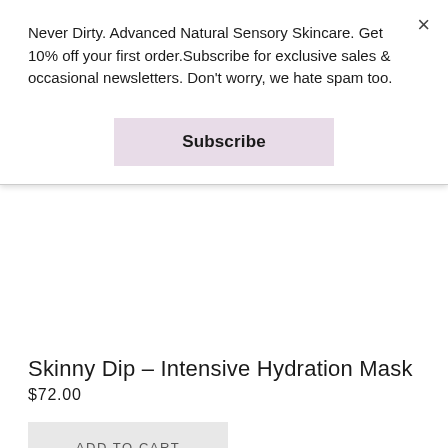Never Dirty. Advanced Natural Sensory Skincare. Get 10% off your first order.Subscribe for exclusive sales & occasional newsletters. Don't worry, we hate spam too.
×
Subscribe
Skinny Dip – Intensive Hydration Mask
$72.00
ADD TO CART